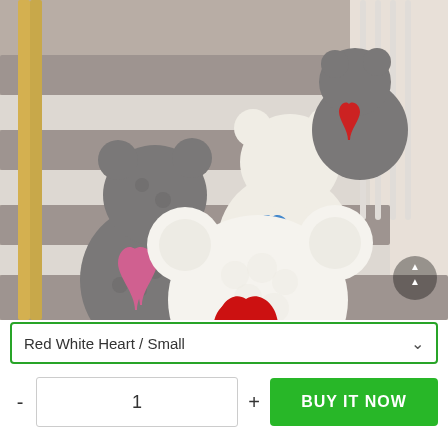[Figure (photo): Rose bears made of artificial roses arranged on carpeted stairs. Several bears visible: grey bear with pink heart, cream/white bear with blue heart, grey bear with red heart in background, and a large white bear with red heart in foreground.]
Red White Heart / Small
- 1 + BUY IT NOW